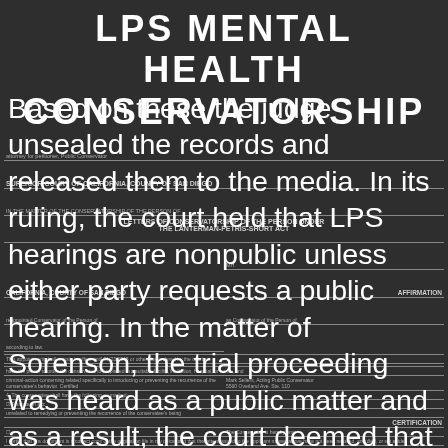LPS MENTAL HEALTH CONSERVATORSHIP
Based on these the judge unsealed the records and released them to the media. In its ruling, the court held that LPS hearings are nonpublic unless either party requests a public hearing. In the matter of Sorenson, the trial proceeding was heard as a public matter and as a result, the court deemed that their failure to raise an objection was to “deemed to have ‘requested’ that the hearings be public” under Welf and Inst Code §5112. Th...